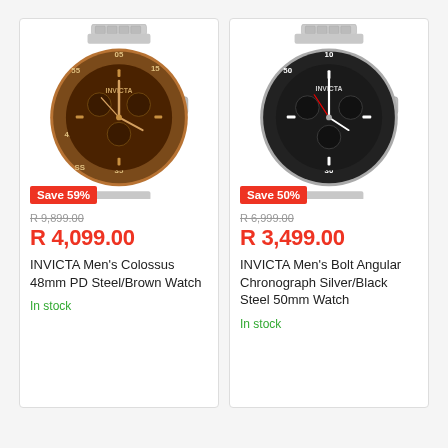[Figure (photo): INVICTA Men's Colossus 48mm PD Steel/Brown Watch with brown dial and silver bracelet]
Save 59%
R 9,899.00
R 4,099.00
INVICTA Men's Colossus 48mm PD Steel/Brown Watch
In stock
[Figure (photo): INVICTA Men's Bolt Angular Chronograph Silver/Black Steel 50mm Watch with black dial and silver bracelet]
Save 50%
R 6,999.00
R 3,499.00
INVICTA Men's Bolt Angular Chronograph Silver/Black Steel 50mm Watch
In stock